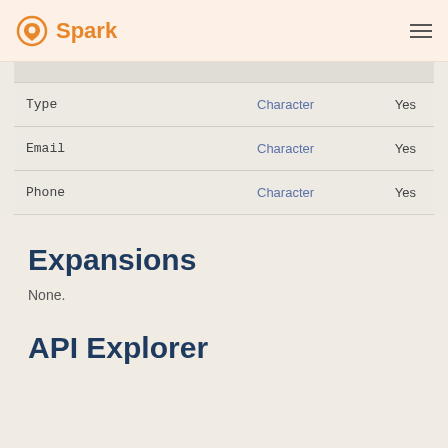Spark
| Type | Character | Yes |
| Email | Character | Yes |
| Phone | Character | Yes |
Expansions
None.
API Explorer